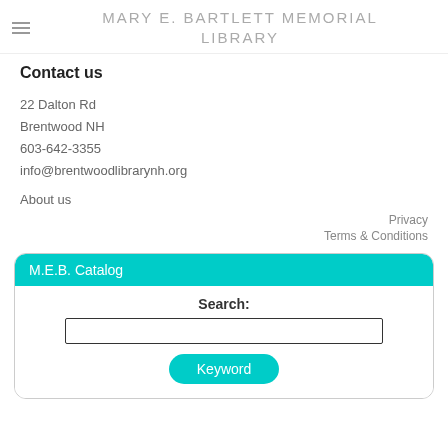MARY E. BARTLETT MEMORIAL LIBRARY
Contact us
22 Dalton Rd
Brentwood NH
603-642-3355
info@brentwoodlibrarynh.org
About us
Privacy
Terms & Conditions
M.E.B. Catalog
Search:
Keyword